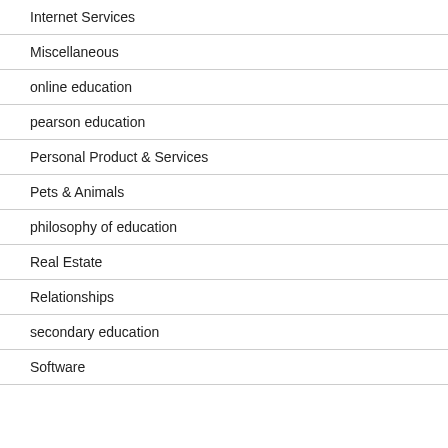Internet Services
Miscellaneous
online education
pearson education
Personal Product & Services
Pets & Animals
philosophy of education
Real Estate
Relationships
secondary education
Software